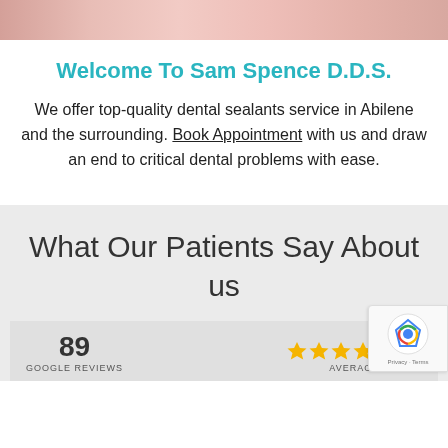[Figure (photo): Close-up photo of a person's teeth/mouth, cropped at the top of the page]
Welcome To Sam Spence D.D.S.
We offer top-quality dental sealants service in Abilene and the surrounding. Book Appointment with us and draw an end to critical dental problems with ease.
What Our Patients Say About us
89 GOOGLE REVIEWS
(4.9) AVERAGE RATING